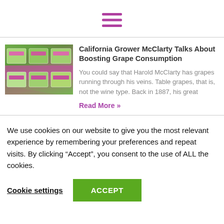[Figure (illustration): Hamburger menu icon with three horizontal purple/pink lines]
[Figure (photo): Photo of green grape boxes with pink/purple branding labels stacked in a market display]
California Grower McClarty Talks About Boosting Grape Consumption
You could say that Harold McClarty has grapes running through his veins. Table grapes, that is, not the wine type. Back in 1887, his great
Read More »
We use cookies on our website to give you the most relevant experience by remembering your preferences and repeat visits. By clicking “Accept”, you consent to the use of ALL the cookies.
Cookie settings
ACCEPT